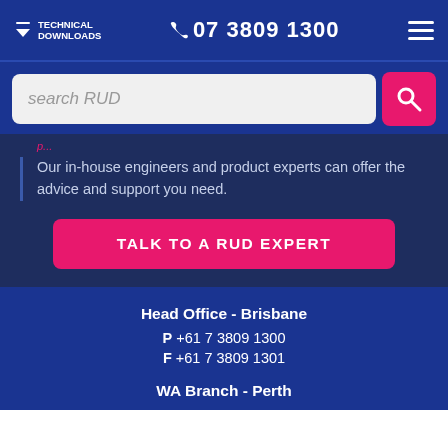TECHNICAL DOWNLOADS  07 3809 1300
[Figure (screenshot): Search bar with placeholder text 'search RUD' and a pink search button with magnifying glass icon]
Our in-house engineers and product experts can offer the advice and support you need.
TALK TO A RUD EXPERT
Head Office - Brisbane
P +61 7 3809 1300
F +61 7 3809 1301
WA Branch - Perth